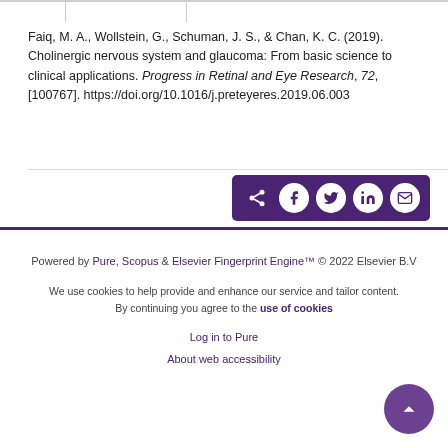Faiq, M. A., Wollstein, G., Schuman, J. S., & Chan, K. C. (2019). Cholinergic nervous system and glaucoma: From basic science to clinical applications. Progress in Retinal and Eye Research, 72, [100767]. https://doi.org/10.1016/j.preteyeres.2019.06.003
[Figure (other): Share bar with social media icons: share, Facebook, Twitter, LinkedIn, email on purple background]
Powered by Pure, Scopus & Elsevier Fingerprint Engine™ © 2022 Elsevier B.V
We use cookies to help provide and enhance our service and tailor content. By continuing you agree to the use of cookies
Log in to Pure
About web accessibility